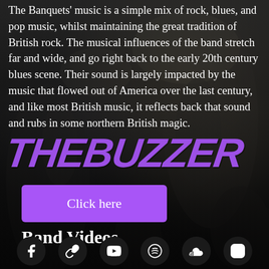[Figure (photo): Black and white concert/band photo background with crowd and performers on stage, smoky atmosphere with stage lighting]
The Banquets' music is a simple mix of rock, blues, and pop music, whilst maintaining the great tradition of British rock. The musical influences of the band stretch far and wide, and go right back to the early 20th century blues scene. Their sound is largely impacted by the music that flowed out of America over the last century, and like most British music, it reflects back that sound and rubs in some northern British magic.
[Figure (logo): THEBUZZER written in large purple bold italic graffiti-style text overlaid on the page]
Click here
Band Videos
[Figure (infographic): Row of six social media icons on dark circular backgrounds: Facebook, chain/link, YouTube, Spotify, SoundCloud, Instagram]